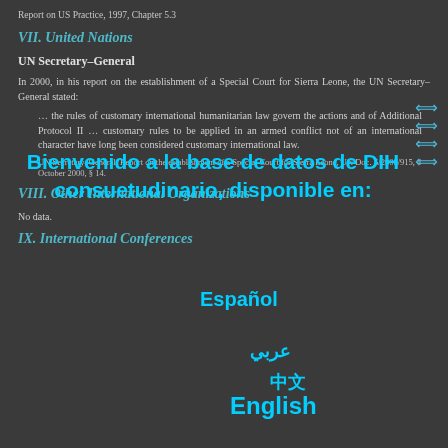Report on US Practice, 1997, Chapter 5.3
VII. United Nations
UN Secretary–General
In 2000, in his report on the establishment of a Special Court for Sierra Leone, the UN Secretary–General stated:
… the rules of customary international humanitarian law govern the actions and of Additional Protocol II … customary rules to be applied in an armed conflict not of an international character have long been considered customary international law.
UN Secretary–General, Report on the establishment of a Special Court for Sierra Leone, UN Doc. S/2000/915, 4 October 2000, § 14.
VIII. Other International Organizations
No data.
IX. International Conferences